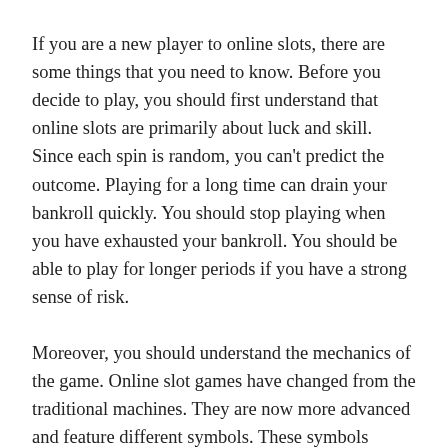If you are a new player to online slots, there are some things that you need to know. Before you decide to play, you should first understand that online slots are primarily about luck and skill. Since each spin is random, you can't predict the outcome. Playing for a long time can drain your bankroll quickly. You should stop playing when you have exhausted your bankroll. You should be able to play for longer periods if you have a strong sense of risk.
Moreover, you should understand the mechanics of the game. Online slot games have changed from the traditional machines. They are now more advanced and feature different symbols. These symbols change according to the theme and the rules of each game. A player wins a game when they get three or more matching symbols. To understand the mechanics of online slots, you should learn about the slot...